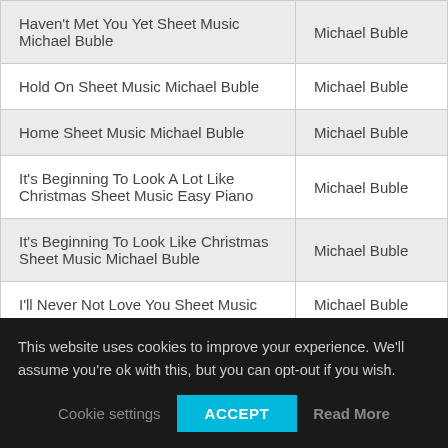|  |  |
| --- | --- |
| Haven't Met You Yet Sheet Music Michael Buble | Michael Buble |
| Hold On Sheet Music Michael Buble | Michael Buble |
| Home Sheet Music Michael Buble | Michael Buble |
| It's Beginning To Look A Lot Like Christmas Sheet Music Easy Piano | Michael Buble |
| It's Beginning To Look Like Christmas Sheet Music Michael Buble | Michael Buble |
| I'll Never Not Love You Sheet Music | Michael Buble |
This website uses cookies to improve your experience. We'll assume you're ok with this, but you can opt-out if you wish.
Cookie settings | ACCEPT | Read More